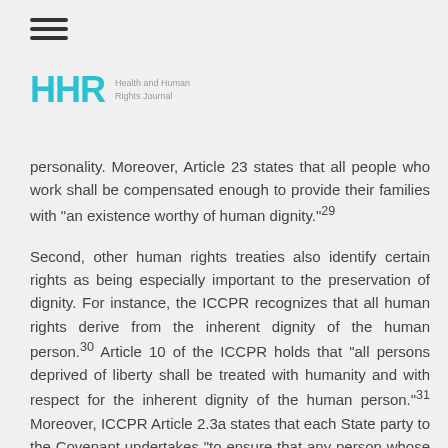≡
[Figure (logo): HHR Health and Human Rights Journal logo]
personality. Moreover, Article 23 states that all people who work shall be compensated enough to provide their families with "an existence worthy of human dignity."29
Second, other human rights treaties also identify certain rights as being especially important to the preservation of dignity. For instance, the ICCPR recognizes that all human rights derive from the inherent dignity of the human person.30 Article 10 of the ICCPR holds that "all persons deprived of liberty shall be treated with humanity and with respect for the inherent dignity of the human person."31 Moreover, ICCPR Article 2.3a states that each State party to the Covenant undertakes "to ensure that any person whose rights or freedoms ... are violated shall have an effective remedy, notwithstanding that the violation has